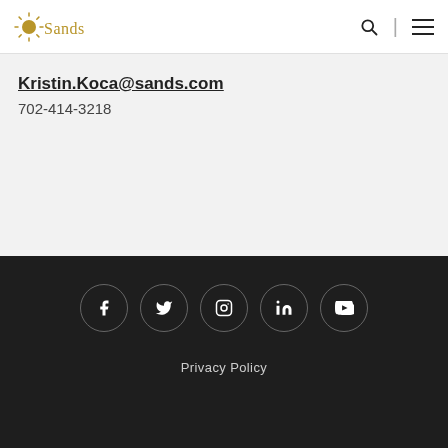Sands (logo with navigation icons)
Kristin.Koca@sands.com
702-414-3218
Social icons: Facebook, Twitter, Instagram, LinkedIn, YouTube | Privacy Policy